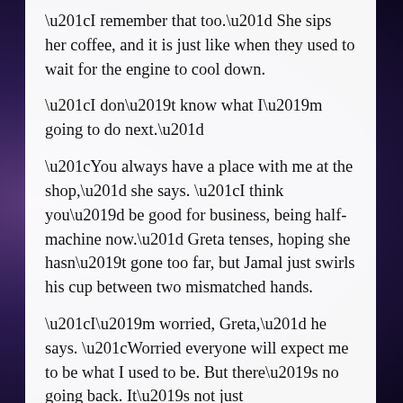“I remember that too.” She sips her coffee, and it is just like when they used to wait for the engine to cool down.
“I don’t know what I’m going to do next.”
“You always have a place with me at the shop,” she says. “I think you’d be good for business, being half-machine now.” Greta tenses, hoping she hasn’t gone too far, but Jamal just swirls his cup between two mismatched hands.
“I’m worried, Greta,” he says. “Worried everyone will expect me to be what I used to be. But there’s no going back. It’s not just this–” he waves at his face–“it’s what’s inside. The fear. I don’t know what I am anymore.”
“You’re Jamal,” Greta tells him.
“But how do you know?” Jamal asks, and she feels